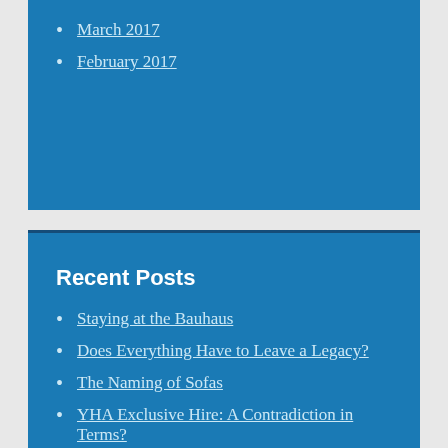March 2017
February 2017
Recent Posts
Staying at the Bauhaus
Does Everything Have to Leave a Legacy?
The Naming of Sofas
YHA Exclusive Hire: A Contradiction in Terms?
The New FPL Season: The Hope That Kills